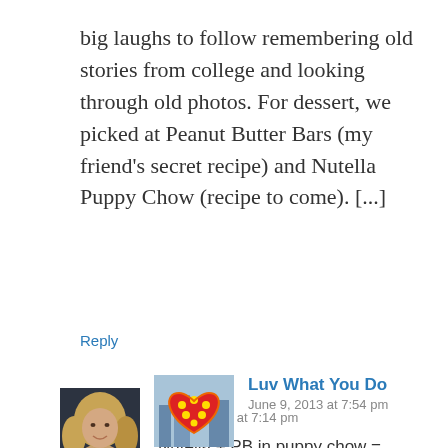big laughs to follow remembering old stories from college and looking through old photos.  For dessert, we picked at Peanut Butter Bars (my friend's secret recipe) and Nutella Puppy Chow (recipe to come). [...]
Reply
[Figure (photo): Avatar photo of Sally, a woman with blonde hair and dark top]
Sally
June 9, 2013 at 7:14 pm

Nutella + PB in puppy chow = amazing!

Reply
[Figure (photo): Avatar image of Luv What You Do, showing a colorful heart with yellow polka dots on red/orange, blue background]
Luv What You Do
June 9, 2013 at 7:54 pm